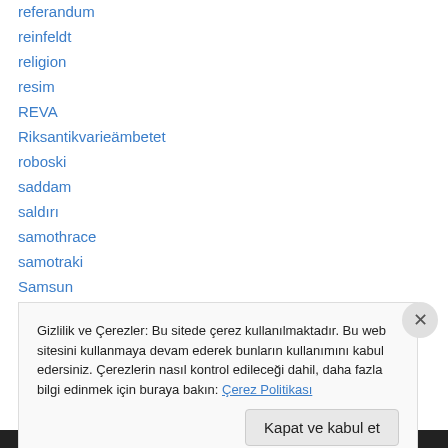referandum
reinfeldt
religion
resim
REVA
Riksantikvarieämbetet
roboski
saddam
saldırı
samothrace
samotraki
Samsun
sanat
Gizlilik ve Çerezler: Bu sitede çerez kullanılmaktadır. Bu web sitesini kullanmaya devam ederek bunların kullanımını kabul edersiniz. Çerezlerin nasıl kontrol edileceği dahil, daha fazla bilgi edinmek için buraya bakın: Çerez Politikası
Kapat ve kabul et
BU REKLAMI KAPAT